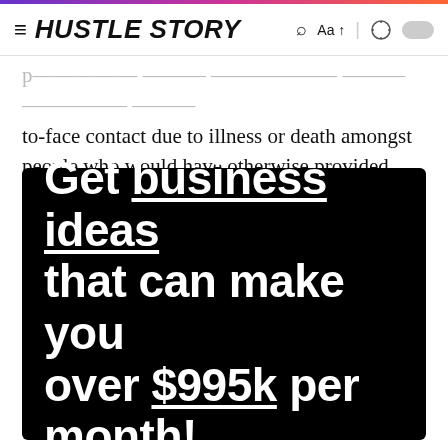HUSTLE STORY
patients when the pandemic had curtailed face-to-face contact due to illness or death amongst people who would have otherwise provided these interactions.
[Figure (infographic): Black promotional banner with white bold text reading: Get business ideas that can make you over $995k per month! — with 'business ideas' and '$995k' underlined.]